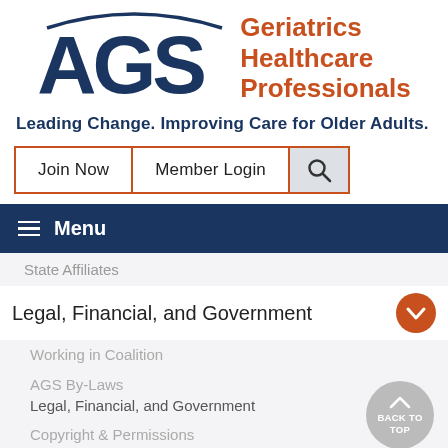[Figure (logo): AGS Geriatrics Healthcare Professionals logo with arc above AGS letters and orange text]
Leading Change. Improving Care for Older Adults.
Join Now | Member Login | Search
Menu
State Affiliates
Legal, Financial, and Government
Working in Coalition
AGS By-Laws
Legal, Financial, and Government
Copyright & Permissions
Disclaimer